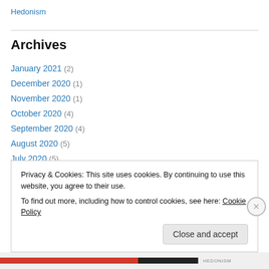Hedonism
Archives
January 2021 (2)
December 2020 (1)
November 2020 (1)
October 2020 (4)
September 2020 (4)
August 2020 (5)
July 2020 (5)
June 2020 (6)
Privacy & Cookies: This site uses cookies. By continuing to use this website, you agree to their use. To find out more, including how to control cookies, see here: Cookie Policy
Close and accept